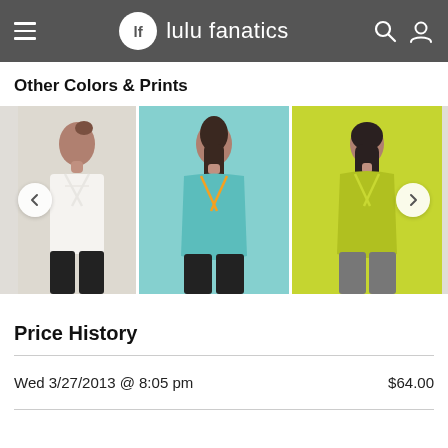lf lulu fanatics
Other Colors & Prints
[Figure (photo): Carousel of three athletic tank tops shown from the back: white tank with cross-back straps, teal tank with orange cross-back straps, and yellow-green tank with cross-back straps. Navigation arrows on left and right sides.]
Price History
| Date | Price |
| --- | --- |
| Wed 3/27/2013 @ 8:05 pm | $64.00 |